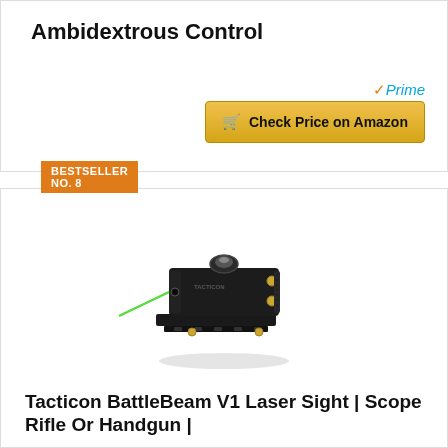Ambidextrous Control
[Figure (other): Amazon Prime logo and Check Price on Amazon button]
BESTSELLER NO. 8
[Figure (photo): Tacticon BattleBeam V1 Laser Sight – small black tactical laser sight device with green laser beam emitting from the front, mounted on a rail, photographed on white background]
Tacticon BattleBeam V1 Laser Sight | Scope Rifle Or Handgun |